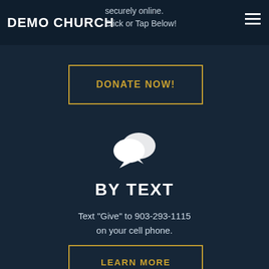DEMO CHURCH  securely online. Click or Tap Below!
DONATE NOW!
[Figure (illustration): Two white speech bubble chat icons overlapping]
BY TEXT
Text "Give" to 903-293-1115 on your cell phone.
LEARN MORE